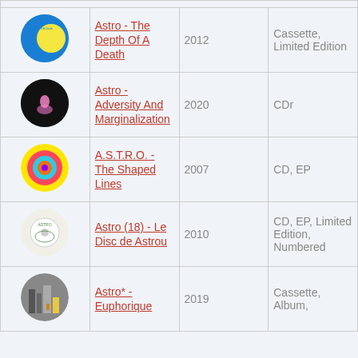| Image | Title | Year | Format |
| --- | --- | --- | --- |
| [album art] | Astro - The Depth Of A Death | 2012 | Cassette, Limited Edition |
| [album art] | Astro - Adversity And Marginalization | 2020 | CDr |
| [album art] | A.S.T.R.O. - The Shaped Lines | 2007 | CD, EP |
| [album art] | Astro (18) - Le Disc de Astrou | 2010 | CD, EP, Limited Edition, Numbered |
| [album art] | Astro* - Euphorique | 2019 | Cassette, Album, |